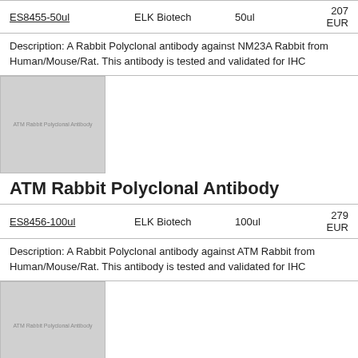| Product | Supplier | Volume | Price |
| --- | --- | --- | --- |
| ES8455-50ul | ELK Biotech | 50ul | 207 EUR |
Description: A Rabbit Polyclonal antibody against NM23A Rabbit from Human/Mouse/Rat. This antibody is tested and validated for IHC
[Figure (photo): Placeholder image for ATM Rabbit Polyclonal Antibody product]
ATM Rabbit Polyclonal Antibody
| Product | Supplier | Volume | Price |
| --- | --- | --- | --- |
| ES8456-100ul | ELK Biotech | 100ul | 279 EUR |
Description: A Rabbit Polyclonal antibody against ATM Rabbit from Human/Mouse/Rat. This antibody is tested and validated for IHC
[Figure (photo): Placeholder image for ATM Rabbit Polyclonal Antibody product (second)]